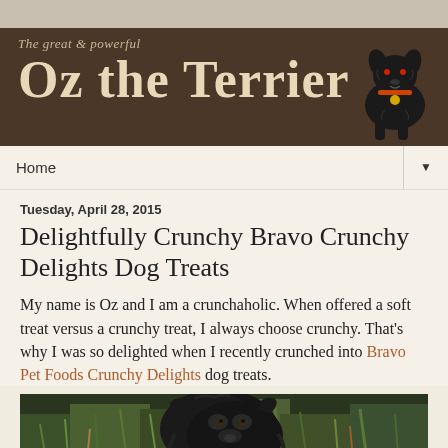The great & powerful Oz the Terrier
Delightfully Crunchy Bravo Crunchy Delights Dog Treats
Tuesday, April 28, 2015
My name is Oz and I am a crunchaholic.  When offered a soft treat versus a crunchy treat, I always choose crunchy.  That's why I was so delighted when I recently crunched into Bravo Pet Foods Crunchy Delights dog treats.
[Figure (photo): Close-up photo of a dark, shaggy terrier dog (Oz) outdoors among green and brown grasses]